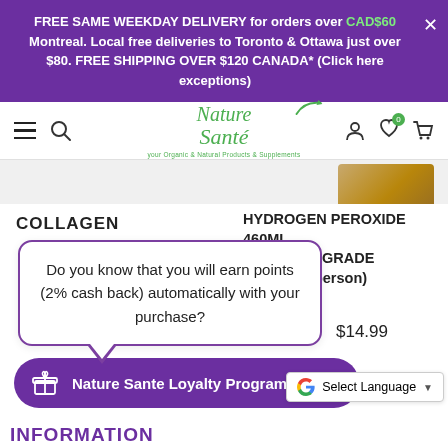FREE SAME WEEKDAY DELIVERY for orders over CAD$60 Montreal. Local free deliveries to Toronto & Ottawa just over $80. FREE SHIPPING OVER $120 CANADA* (Click here exceptions)
[Figure (screenshot): Nature Sante website navigation bar with hamburger menu, search icon, logo, user icon, wishlist icon with 0 badge, and cart icon]
[Figure (photo): Partial product image in brown/gold tones at top right of product area]
COLLAGEN
HYDROGEN PEROXIDE 460ML 35% FOOD GRADE (three per person)
$14.99
Do you know that you will earn points (2% cash back) automatically with your purchase?
Nature Sante Loyalty Program
Select Language
INFORMATION